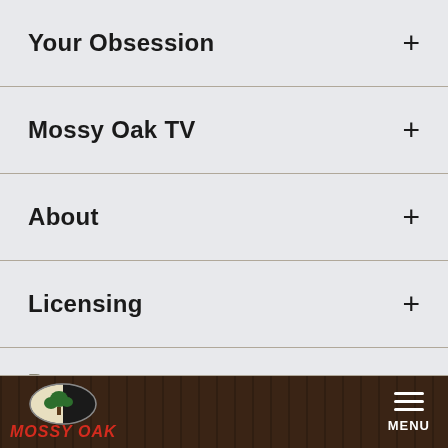Your Obsession +
Mossy Oak TV +
About +
Licensing +
Resources
Store
Contact Us
[Figure (logo): Mossy Oak logo: oval with tree silhouette and MOSSY OAK text in red italic]
MENU